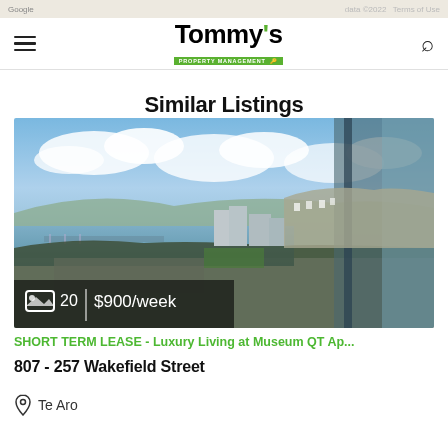Tommy's Property Management
Similar Listings
[Figure (photo): Aerial/balcony view of Wellington harbour, marina, and Te Aro suburb with blue sky and clouds. Overlay shows image count (20) and price ($900/week).]
SHORT TERM LEASE - Luxury Living at Museum QT Ap...
807 - 257 Wakefield Street
Te Aro